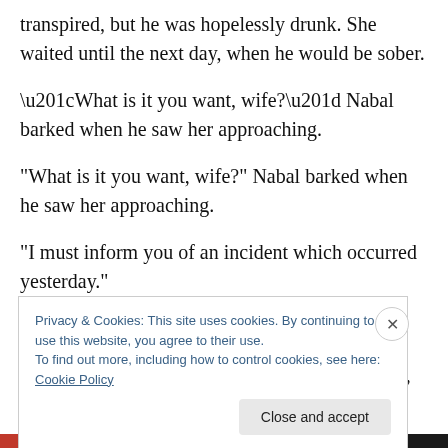transpired, but he was hopelessly drunk. She waited until the next day, when he would be sober.
“What is it you want, wife?” Nabal barked when he saw her approaching.
“I must inform you of an incident which occurred yesterday.”
“Be quick about it, wife.”
It took Abigail but three minutes to tell her story, and when
Privacy & Cookies: This site uses cookies. By continuing to use this website, you agree to their use.
To find out more, including how to control cookies, see here: Cookie Policy
Close and accept